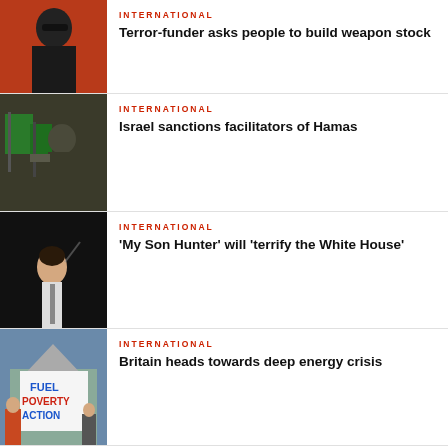[Figure (photo): Man in sunglasses against red background]
INTERNATIONAL
Terror-funder asks people to build weapon stock
[Figure (photo): Soldiers with green Hamas flags]
INTERNATIONAL
Israel sanctions facilitators of Hamas
[Figure (photo): Man looking upward in dramatic pose]
INTERNATIONAL
'My Son Hunter' will 'terrify the White House'
[Figure (photo): Protest sign reading FUEL POVERTY ACTION outside a cathedral]
INTERNATIONAL
Britain heads towards deep energy crisis